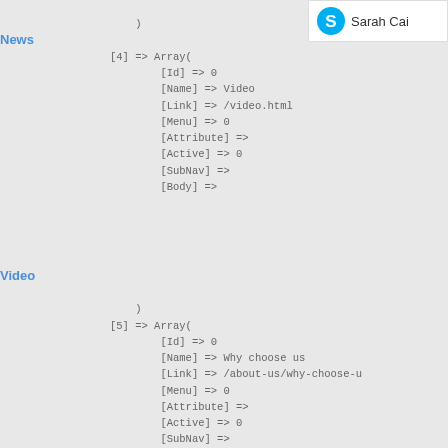[Figure (other): Profile box showing Skype-style icon and name 'Sarah Cai']
)
[4] => Array(
    [Id] => 0
    [Name] => Video
    [Link] => /video.html
    [Menu] => 0
    [Attribute] =>
    [Active] => 0
    [SubNav] =>
    [Body] =>


)
[5] => Array(
    [Id] => 0
    [Name] => Why choose us
    [Link] => /about-us/why-choose-u
    [Menu] => 0
    [Attribute] =>
    [Active] => 0
    [SubNav] =>
News
Video